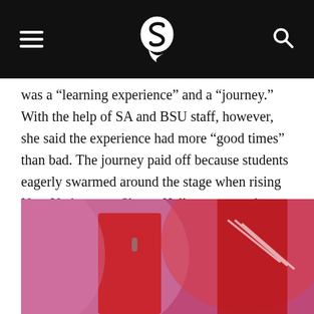S [logo]
was a “learning experience” and a “journey.” With the help of SA and BSU staff, however, she said the experience had more “good times” than bad. The journey paid off because students eagerly swarmed around the stage when rising New York rapper Sleepy Hallow appeared.
[Figure (photo): Photo of rapper Sleepy Hallow performing on stage wearing a red hoodie, holding a microphone, with another person in a red hoodie beside him, under pink/red stage lighting.]